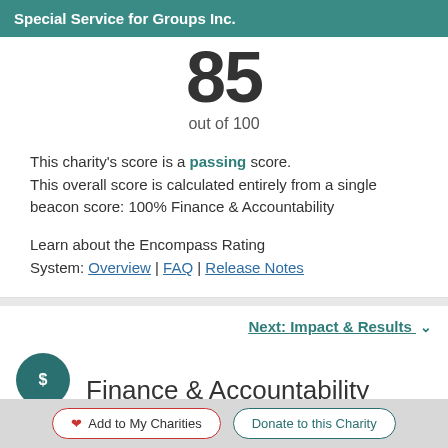Special Service for Groups Inc.
85
out of 100
This charity's score is a passing score. This overall score is calculated entirely from a single beacon score: 100% Finance & Accountability
Learn about the Encompass Rating System: Overview | FAQ | Release Notes
Next: Impact & Results
Finance & Accountability
Add to My Charities
Donate to this Charity